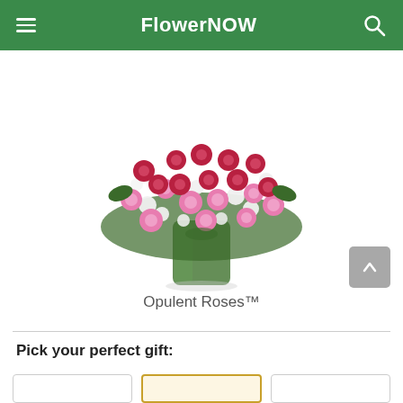FlowerNOW
[Figure (photo): A large floral arrangement of red and pink roses with white filler flowers in a green glass vase, displayed on a white background.]
Opulent Roses™
Pick your perfect gift: